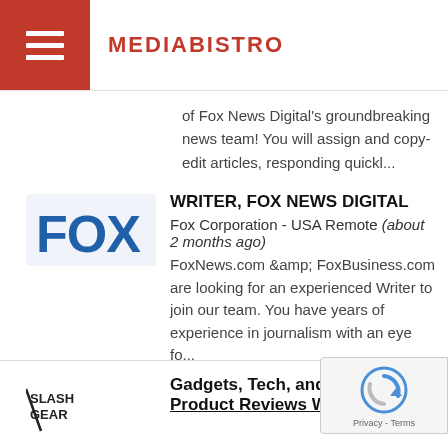MEDIABISTRO
of Fox News Digital's groundbreaking news team! You will assign and copy-edit articles, responding quickl...
WRITER, FOX NEWS DIGITAL
Fox Corporation - USA Remote (about 2 months ago)
FoxNews.com &amp; FoxBusiness.com are looking for an experienced Writer to join our team. You have years of experience in journalism with an eye fo...
Gadgets, Tech, and Consumer Product Reviews Writer